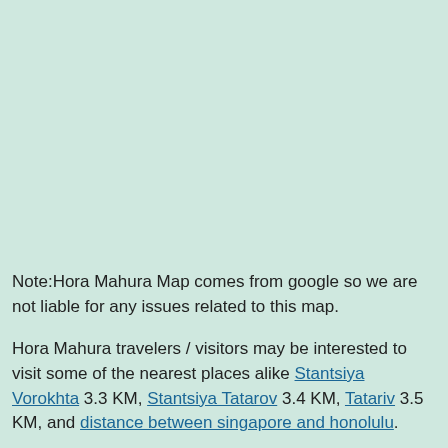Note:Hora Mahura Map comes from google so we are not liable for any issues related to this map.
Hora Mahura travelers / visitors may be interested to visit some of the nearest places alike Stantsiya Vorokhta 3.3 KM, Stantsiya Tatarov 3.4 KM, Tatariv 3.5 KM, and distance between singapore and honolulu.